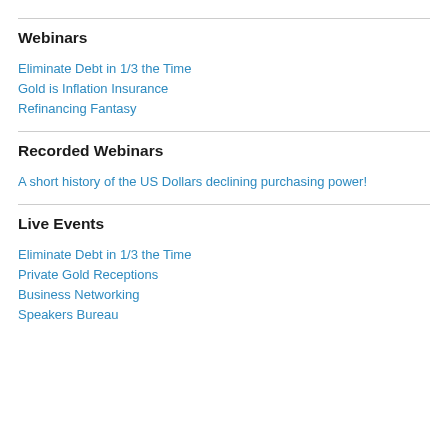Webinars
Eliminate Debt in 1/3 the Time
Gold is Inflation Insurance
Refinancing Fantasy
Recorded Webinars
A short history of the US Dollars declining purchasing power!
Live Events
Eliminate Debt in 1/3 the Time
Private Gold Receptions
Business Networking
Speakers Bureau